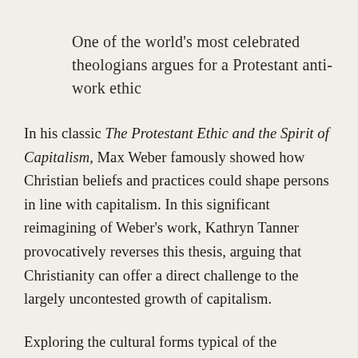One of the world’s most celebrated theologians argues for a Protestant anti-work ethic
In his classic The Protestant Ethic and the Spirit of Capitalism, Max Weber famously showed how Christian beliefs and practices could shape persons in line with capitalism. In this significant reimagining of Weber’s work, Kathryn Tanner provocatively reverses this thesis, arguing that Christianity can offer a direct challenge to the largely uncontested growth of capitalism.
Exploring the cultural forms typical of the